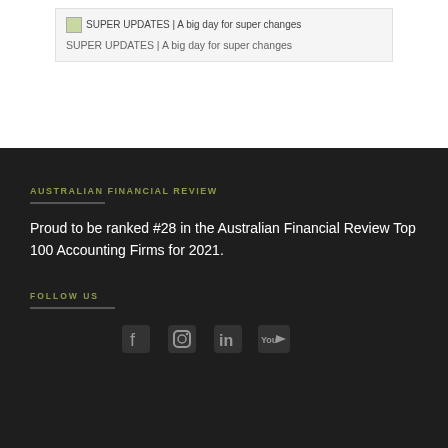[Figure (screenshot): Card showing image placeholder text 'SUPER UPDATES | A big day for super changes' with a thumbnail image at top]
SUPER UPDATES | A big day for super changes
AUSTRALIAN FINANCIAL REVIEW
Proud to be ranked #28 in the Australian Financial Review Top 100 Accounting Firms for 2021.
FOLLOW US
[Figure (illustration): Social media icons: Facebook, Instagram, LinkedIn, YouTube]